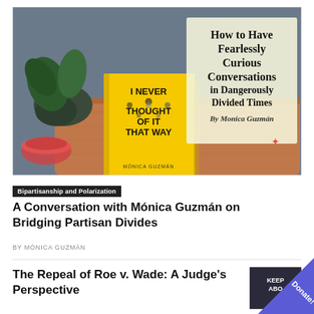[Figure (photo): Book cover of 'I Never Thought of It That Way' by Monica Guzman on a wooden table with a plant and bowl. Text overlay: 'How to Have Fearlessly Curious Conversations in Dangerously Divided Times. By Monica Guzmán']
Bipartisanship and Polarization
A Conversation with Mónica Guzmán on Bridging Partisan Divides
BY MÓNICA GUZMÁN
The Repeal of Roe v. Wade: A Judge's Perspective